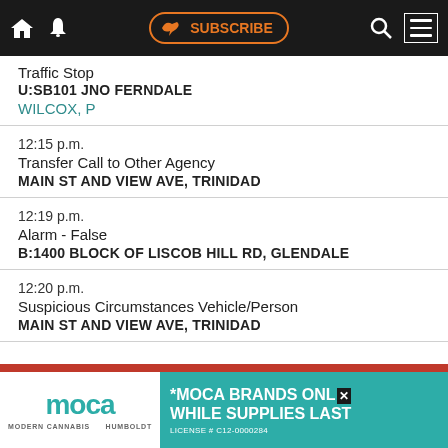SUBSCRIBE navbar
Traffic Stop
U:SB101 JNO FERNDALE
WILCOX, P
12:15 p.m.
Transfer Call to Other Agency
MAIN ST AND VIEW AVE, TRINIDAD
12:19 p.m.
Alarm - False
B:1400 BLOCK OF LISCOB HILL RD, GLENDALE
12:20 p.m.
Suspicious Circumstances Vehicle/Person
MAIN ST AND VIEW AVE, TRINIDAD
[Figure (infographic): MOCA Brands advertisement banner at bottom of page. Left side white background with 'moca' logo in teal and 'MODERN CANNABIS HUMBOLDT' text. Right side teal background with '*MOCA BRANDS ONLY WHILE SUPPLIES LAST LICENSE # C12-0000284' text.]